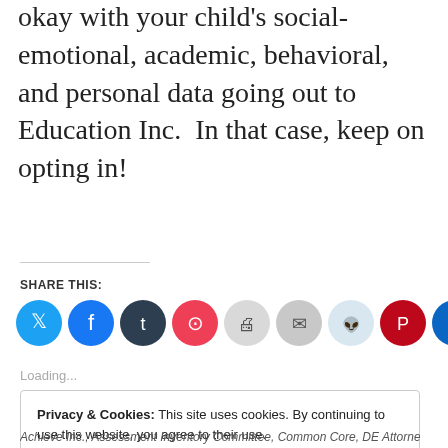okay with your child's social-emotional, academic, behavioral, and personal data going out to Education Inc.  In that case, keep on opting in!
SHARE THIS:
[Figure (other): Social share buttons: Twitter (blue), Facebook (blue), Tumblr (dark navy), Pocket (red), Print (light gray), Email (gray), Reddit (light blue), Pinterest (dark red), LinkedIn (blue)]
Loading...
Privacy & Cookies: This site uses cookies. By continuing to use this website, you agree to their use.
To find out more, including how to control cookies, see here: Cookie Policy
Achieve Inc., Assessment Inventory Committee, Common Core, DE Attorney General Matt Penn...